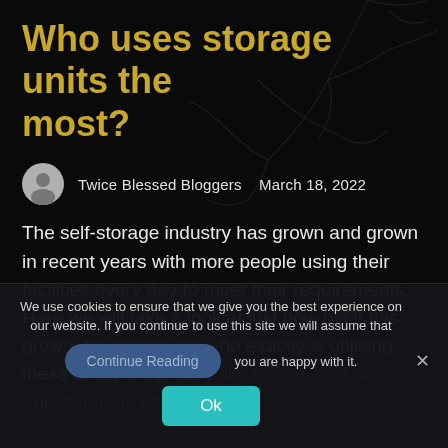Who uses storage units the most?
Twice Blessed Bloggers   March 18, 2022
The self-storage industry has grown and grown in recent years with more people using their facilities every day to meet their requirements. Here we will take a look at just how big it has grown, by seeing just who exactly is utilising these units, which they like to use, and why. This can help us [...]
We use cookies to ensure that we give you the best experience on our website. If you continue to use this site we will assume that you are happy with it.